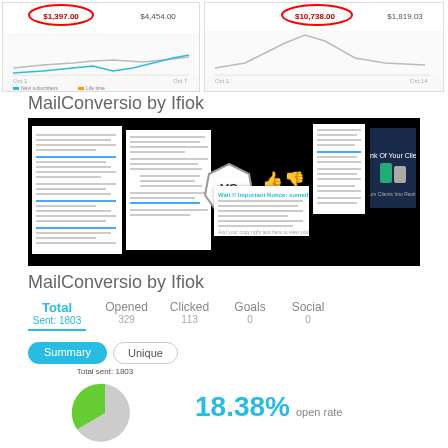[Figure (screenshot): Two dashboard screenshots at top showing sales charts with circled values ($1,397.00 and $10,738.00) and '$10,738 Sales' annotation]
MailConversio by Ifiok
[Figure (screenshot): Black background collage showing VS comparison of email marketing pages with document previews, VS badge, thumbs up/down icons, and video thumbnails]
MailConversio by Ifiok
Total Sent: 1803 | Opened 329 | Clicked 113 | Goals 0 | Social 0
[Figure (pie-chart): Total sent: 1803]
18.38% open rate